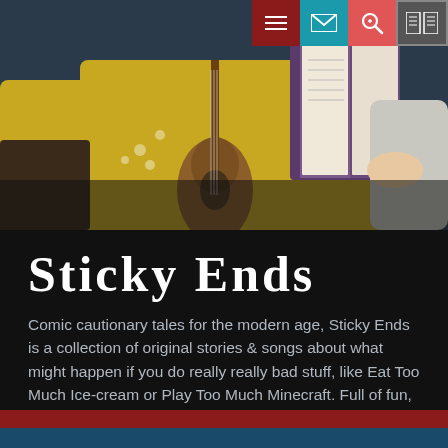[Figure (photo): Person reading a book on a colourful sofa with a guitar, monkey toy, and yellow cushions in the background]
Sticky Ends
Comic cautionary tales for the modern age, Sticky Ends is a collection of original stories & songs about what might happen if you do really really bad stuff, like Eat Too Much Ice-cream or Play Too Much Minecraft. Full of fun, silliness and chances to join in. Suitable for age 5+.
MORE INFO AND BOOKING...